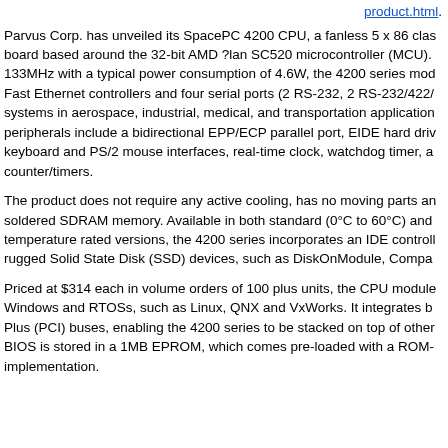product.html.
Parvus Corp. has unveiled its SpacePC 4200 CPU, a fanless 5 x 86 class board based around the 32-bit AMD ?lan SC520 microcontroller (MCU). 133MHz with a typical power consumption of 4.6W, the 4200 series mod Fast Ethernet controllers and four serial ports (2 RS-232, 2 RS-232/422/ systems in aerospace, industrial, medical, and transportation application peripherals include a bidirectional EPP/ECP parallel port, EIDE hard driv keyboard and PS/2 mouse interfaces, real-time clock, watchdog timer, a counter/timers.
The product does not require any active cooling, has no moving parts an soldered SDRAM memory. Available in both standard (0°C to 60°C) and temperature rated versions, the 4200 series incorporates an IDE controll rugged Solid State Disk (SSD) devices, such as DiskOnModule, Compa
Priced at $314 each in volume orders of 100 plus units, the CPU module Windows and RTOSs, such as Linux, QNX and VxWorks. It integrates b Plus (PCI) buses, enabling the 4200 series to be stacked on top of other BIOS is stored in a 1MB EPROM, which comes pre-loaded with a ROM- implementation.